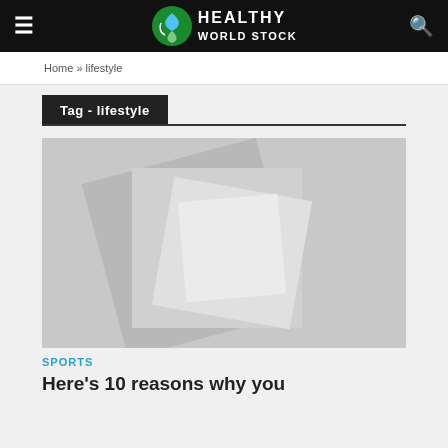HEALTHY WORLD STOCK
Home » lifestyle
Tag - lifestyle
[Figure (photo): Abstract geometric background with overlapping light grey squares on a light grey gradient background]
SPORTS
Here's 10 reasons why you